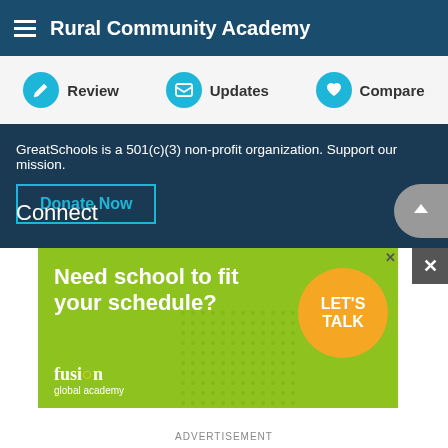Rural Community Academy
Review  Updates  Compare
GreatSchools is a 501(c)(3) non-profit organization. Support our mission.
Donate Now
Join us
Supporters
Licensing
Sponsorship
Advertising
Careers
Learn more
Newsletter
Privacy policy
Terms of use
About us
Contact us
Connect
[Figure (infographic): Advertisement banner for Fusion Global Academy. Green background with text 'Need school to fit your schedule?' with an orange speech bubble saying 'LET'S TALK'. Fusion global academy logo in bottom left.]
ADVERTISEMENT